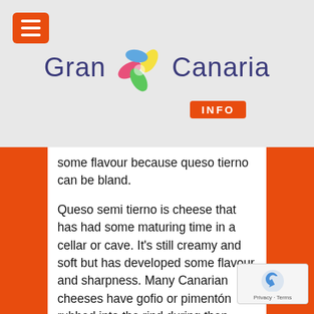[Figure (logo): Gran Canaria INFO logo with colorful flower/windmill graphic between 'Gran' and 'Canaria' text, with orange INFO badge below]
some flavour because queso tierno can be bland.
Queso semi tierno is cheese that has had some maturing time in a cellar or cave. It's still creamy and soft but has developed some flavour and sharpness. Many Canarian cheeses have gofio or pimentón rubbed into the rind during then curing process.
Queso duro or maduro is mature cheese that has plenty of acidity and